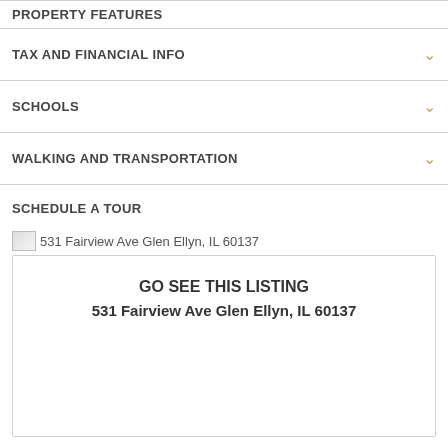PROPERTY FEATURES
TAX AND FINANCIAL INFO
SCHOOLS
WALKING AND TRANSPORTATION
SCHEDULE A TOUR
531 Fairview Ave Glen Ellyn, IL 60137
[Figure (other): Listing card showing 'GO SEE THIS LISTING' with address 531 Fairview Ave Glen Ellyn, IL 60137]